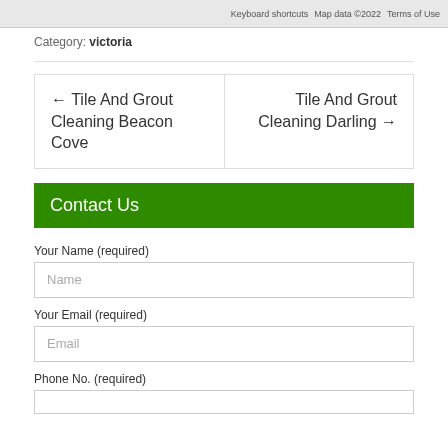[Figure (screenshot): Partial Google Maps screenshot showing map UI with keyboard shortcuts, map data 2022, terms of use text]
Category: victoria
← Tile And Grout Cleaning Beacon Cove
Tile And Grout Cleaning Darling →
Contact Us
Your Name (required)
Your Email (required)
Phone No. (required)